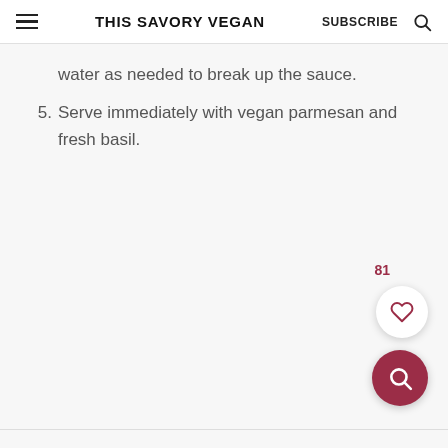THIS SAVORY VEGAN  SUBSCRIBE
water as needed to break up the sauce.
5. Serve immediately with vegan parmesan and fresh basil.